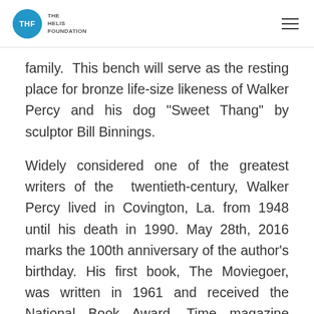THE HELIS FOUNDATION
family. This bench will serve as the resting place for bronze life-size likeness of Walker Percy and his dog “Sweet Thang” by sculptor Bill Binnings.
Widely considered one of the greatest writers of the twentieth-century, Walker Percy lived in Covington, La. from 1948 until his death in 1990. May 28th, 2016 marks the 100th anniversary of the author’s birthday. His first book, The Moviegoer, was written in 1961 and received the National Book Award. Time magazine named it “one of the